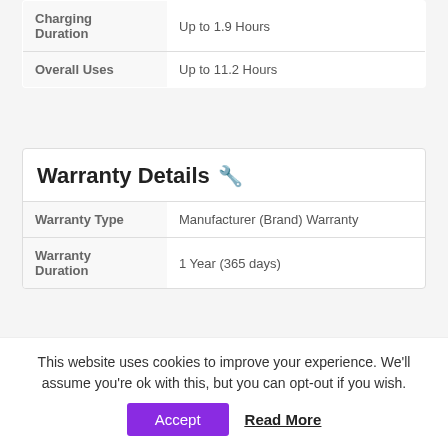|  |  |
| --- | --- |
| Charging Duration | Up to 1.9 Hours |
| Overall Uses | Up to 11.2 Hours |
Warranty Details 🔧
|  |  |
| --- | --- |
| Warranty Type | Manufacturer (Brand) Warranty |
| Warranty Duration | 1 Year (365 days) |
Box items 💼
This website uses cookies to improve your experience. We'll assume you're ok with this, but you can opt-out if you wish.
Accept | Read More